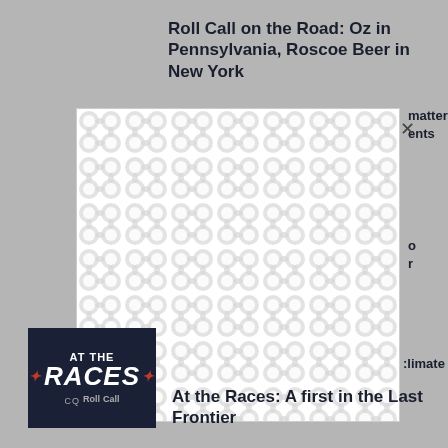Roll Call on the Road: Oz in Pennsylvania, Roscoe Beer in New York
[Figure (screenshot): A modal/popup overlay showing a bubble wrap pattern (repeated interlocking circle shapes in light gray and white), with an X close button at the top right. Partial text visible to the right: 'matter', 'ents', and 'climate'.]
[Figure (logo): At the Races logo - dark navy background with 'AT THE' in small white caps, 'RACES' in large bold italic white text with red star decorations on either side, and 'CQ Roll Call' in small gray text below.]
At the Races: A first in the Last Frontier